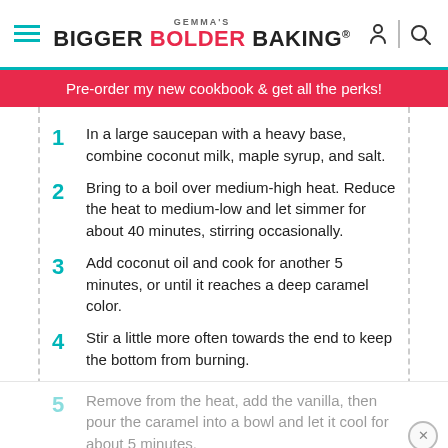GEMMA'S BIGGER BOLDER BAKING®
Pre-order my new cookbook & get all the perks!
1  In a large saucepan with a heavy base, combine coconut milk, maple syrup, and salt.
2  Bring to a boil over medium-high heat. Reduce the heat to medium-low and let simmer for about 40 minutes, stirring occasionally.
3  Add coconut oil and cook for another 5 minutes, or until it reaches a deep caramel color.
4  Stir a little more often towards the end to keep the bottom from burning.
5  Remove from the heat, add the vanilla, then pour the caramel into a bowl and let it cool for about 5 minutes.